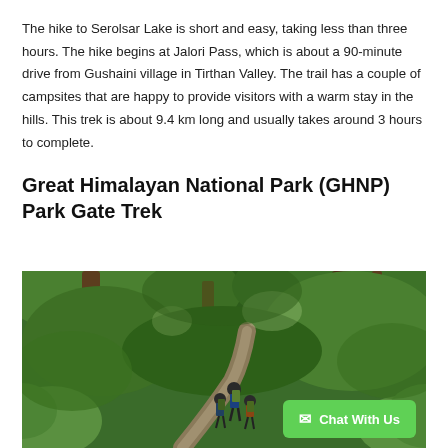The hike to Serolsar Lake is short and easy, taking less than three hours. The hike begins at Jalori Pass, which is about a 90-minute drive from Gushaini village in Tirthan Valley. The trail has a couple of campsites that are happy to provide visitors with a warm stay in the hills. This trek is about 9.4 km long and usually takes around 3 hours to complete.
Great Himalayan National Park (GHNP) Park Gate Trek
[Figure (photo): A lush green forested trail with trekkers carrying backpacks hiking through dense green trees and ferns. A chat button overlay reads 'Chat With Us'.]